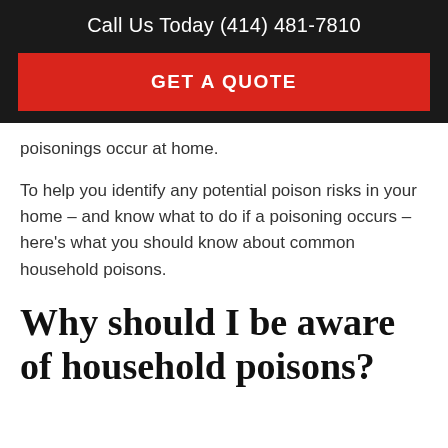Call Us Today (414) 481-7810
GET A QUOTE
poisonings occur at home.
To help you identify any potential poison risks in your home – and know what to do if a poisoning occurs – here's what you should know about common household poisons.
Why should I be aware of household poisons?